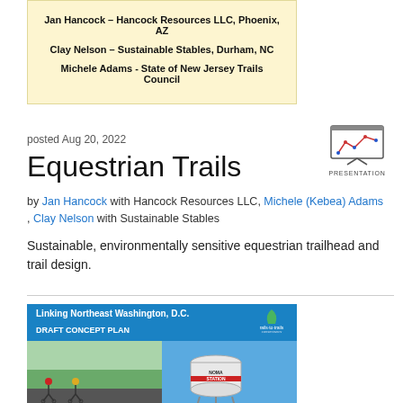[Figure (other): Beige card listing presenters: Jan Hancock – Hancock Resources LLC, Phoenix, AZ; Clay Nelson – Sustainable Stables, Durham, NC; Michele Adams - State of New Jersey Trails Council]
posted Aug 20, 2022
[Figure (other): Presentation icon: whiteboard with chart and dots, labeled PRESENTATION]
Equestrian Trails
by Jan Hancock with Hancock Resources LLC, Michele (Kebea) Adams , Clay Nelson with Sustainable Stables
Sustainable, environmentally sensitive equestrian trailhead and trail design.
[Figure (other): Draft Concept Plan cover image for Linking Northeast Washington D.C., rails-to-trails conservancy. Shows cyclists on a path and a water tower labeled NOMA STATION.]